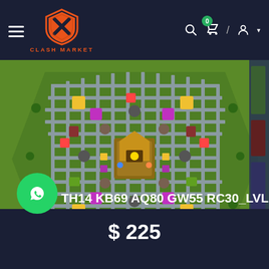CLASH MARKET
[Figure (screenshot): Clash of Clans game screenshot showing a top-down view of a high-level base village with various buildings, walls, and decorations on green terrain]
TH14 KB69 AQ80 GW55 RC30_LVL 230
$ 225